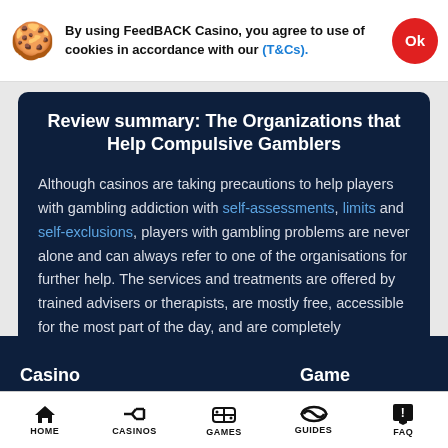By using FeedBACK Casino, you agree to use of cookies in accordance with our (T&Cs).
Review summary: The Organizations that Help Compulsive Gamblers
Although casinos are taking precautions to help players with gambling addiction with self-assessments, limits and self-exclusions, players with gambling problems are never alone and can always refer to one of the organisations for further help. The services and treatments are offered by trained advisers or therapists, are mostly free, accessible for the most part of the day, and are completely confidential.
Casino | Game | HOME | CASINOS | GAMES | GUIDES | FAQ